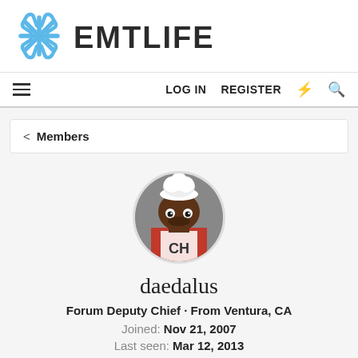[Figure (logo): EMTLife logo with blue star of life icon and bold dark text EMTLIFE]
LOG IN   REGISTER
< Members
[Figure (photo): Circular profile avatar showing a South Park Chef character with a white chef hat]
daedalus
Forum Deputy Chief · From Ventura, CA
Joined: Nov 21, 2007
Last seen: Mar 12, 2013